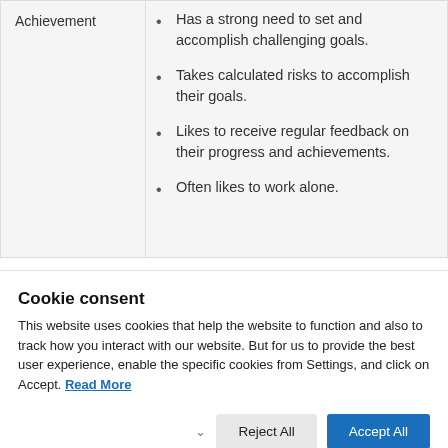| Achievement | Characteristics |
| --- | --- |
| Achievement | Has a strong need to set and accomplish challenging goals.
Takes calculated risks to accomplish their goals.
Likes to receive regular feedback on their progress and achievements.
Often likes to work alone. |
Cookie consent
This website uses cookies that help the website to function and also to track how you interact with our website. But for us to provide the best user experience, enable the specific cookies from Settings, and click on Accept. Read More